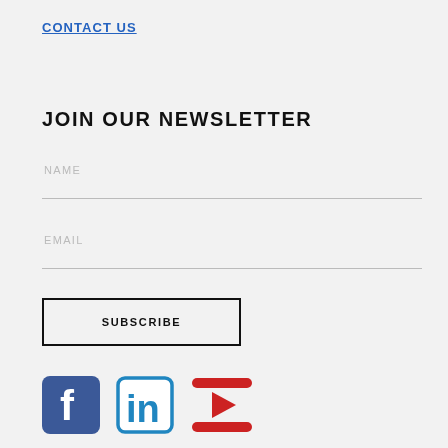CONTACT US
JOIN OUR NEWSLETTER
NAME
EMAIL
SUBSCRIBE
[Figure (logo): Facebook, LinkedIn, and YouTube social media icons]